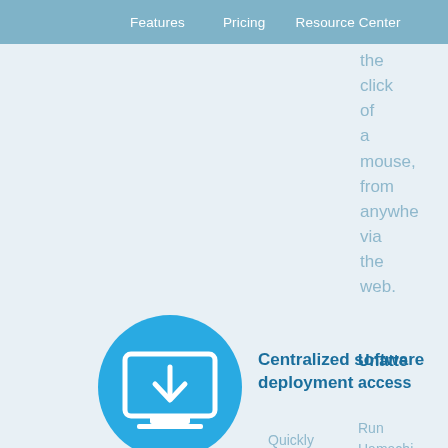Features    Pricing    Resource Center
the click of a mouse, from anywhere via the web.
[Figure (illustration): Blue circle icon with a monitor/laptop showing a download arrow symbol]
Centralized software deployment
[Figure (illustration): Blue circle icon with a monitor showing a key/unlock symbol with dashed lines on left and right]
Unatten... access...
Quickly and easily provision virtual network client
Run Hamachi in the background of network comput...